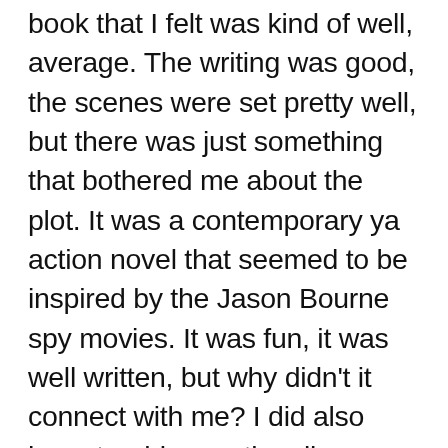book that I felt was kind of well, average. The writing was good, the scenes were set pretty well, but there was just something that bothered me about the plot. It was a contemporary ya action novel that seemed to be inspired by the Jason Bourne spy movies. It was fun, it was well written, but why didn't it connect with me? I did also have trouble emotionally connecting with the hero, but I really think it's because I didn't believe it.It didn't connect because the world this seventeen year old lives in could be my own world. I had to fight my own reality and couldn't immerse myself completely into the story.